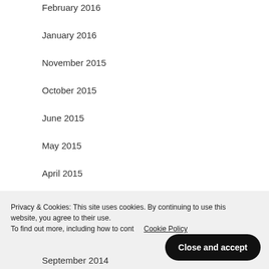February 2016
January 2016
November 2015
October 2015
June 2015
May 2015
April 2015
March 2015
February 2015
January 2015
Privacy & Cookies: This site uses cookies. By continuing to use this website, you agree to their use. To find out more, including how to cont… Cookie Policy
September 2014